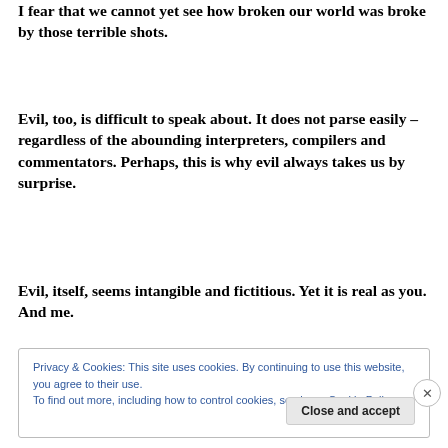I fear that we cannot yet see how broken our world was broke by those terrible shots.
Evil, too, is difficult to speak about. It does not parse easily – regardless of the abounding interpreters, compilers and commentators. Perhaps, this is why evil always takes us by surprise.
Evil, itself, seems intangible and fictitious. Yet it is real as you. And me.
Privacy & Cookies: This site uses cookies. By continuing to use this website, you agree to their use.
To find out more, including how to control cookies, see here: Cookie Policy
Close and accept